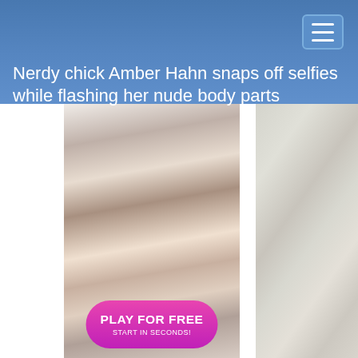Nerdy chick Amber Hahn snaps off selfies while flashing her nude body parts
[Figure (photo): Three-panel image area: left white space, center showing animated/3D rendered content with a pink 'PLAY FOR FREE START IN SECONDS!' button overlay at bottom, right showing a close-up blurry photo of light-colored fur or hair texture.]